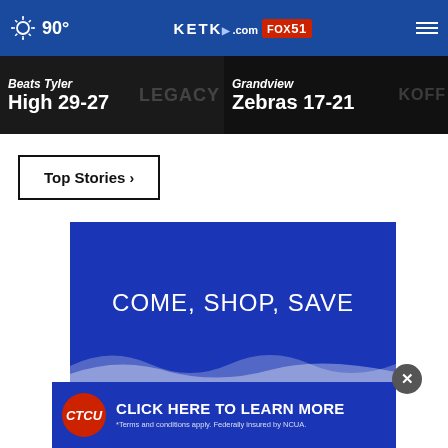90° KETK.com FOX51
Beats Tyler High 29-27
Grandview Zebras 17-21
Top Stories ›
[Figure (other): Blue advertisement banner reading COME, SHOP, SAVE with white wave graphic at bottom]
[Figure (other): CTCU credit union advertisement: CLICK HERE TO LEARN MORE. *Terms and conditions apply. Federally insured by NCUA.]
Industries of East Texas, Inc.